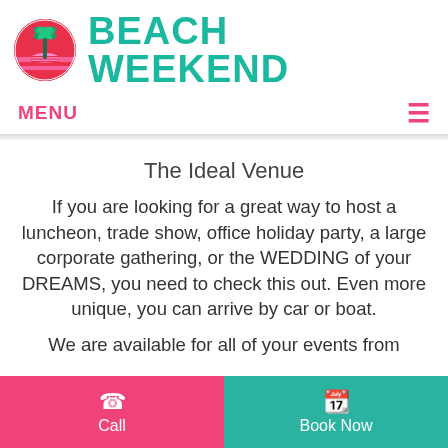[Figure (logo): Beach Weekend logo: pink/red circular icon with palm tree and sunset stripes, followed by teal bold text BEACH WEEKEND]
MENU ☰
The Ideal Venue
If you are looking for a great way to host a luncheon, trade show, office holiday party, a large corporate gathering, or the WEDDING of your DREAMS, you need to check this out. Even more unique, you can arrive by car or boat.
We are available for all of your events from
Call
Book Now